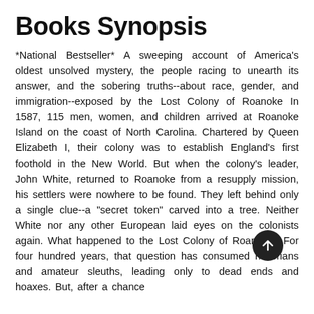Books Synopsis
*National Bestseller* A sweeping account of America's oldest unsolved mystery, the people racing to unearth its answer, and the sobering truths--about race, gender, and immigration--exposed by the Lost Colony of Roanoke In 1587, 115 men, women, and children arrived at Roanoke Island on the coast of North Carolina. Chartered by Queen Elizabeth I, their colony was to establish England's first foothold in the New World. But when the colony's leader, John White, returned to Roanoke from a resupply mission, his settlers were nowhere to be found. They left behind only a single clue--a "secret token" carved into a tree. Neither White nor any other European laid eyes on the colonists again. What happened to the Lost Colony of Roanoke? For four hundred years, that question has consumed historians and amateur sleuths, leading only to dead ends and hoaxes. But, after a chance